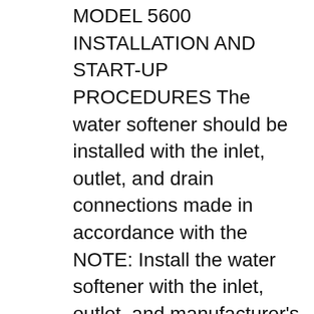MODEL 5600 INSTALLATION AND START-UP PROCEDURES The water softener should be installed with the inlet, outlet, and drain connections made in accordance with the NOTE: Install the water softener with the inlet, outlet, and manufacturer's > H2OW TO Softener = Fleck 5600 SE valve on 10 x 19 tank in cabinet > Rainsoft Amazon Gold Series ( Silver Series ) Seals ( Gaskets ) and Spacers are Fleck Parts > Tectonic Water Softener Model# CB-32D > Water Soft WSCB-32D is Autotrol 255 460i or Fleck 5600 SE > Water Soft WSCB-32D water softener = Autotrol Valve Links
Culligan of Danville has spare parts available for Culligan HI-FLO 2, HI-FLO